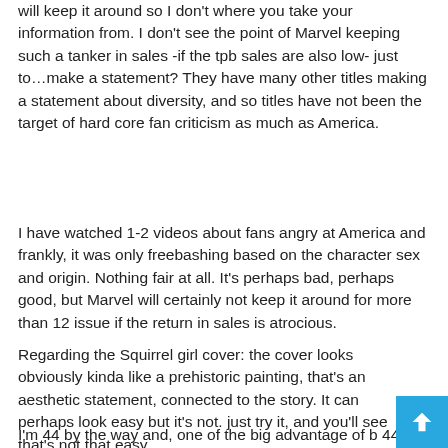will keep it around so I don't where you take your information from. I don't see the point of Marvel keeping such a tanker in sales -if the tpb sales are also low- just to…make a statement? They have many other titles making a statement about diversity, and so titles have not been the target of hard core fan criticism as much as America.
I have watched 1-2 videos about fans angry at America and frankly, it was only freebashing based on the character sex and origin. Nothing fair at all. It's perhaps bad, perhaps good, but Marvel will certainly not keep it around for more than 12 issue if the return in sales is atrocious.
Regarding the Squirrel girl cover: the cover looks obviously kinda like a prehistoric painting, that's an aesthetic statement, connected to the story. It can perhaps look easy but it's not. just try it, and you'll see that's not that easy.
I'm 44 by the way and, one of the big advantage of b 44 is that you completly assume your choices. Squir